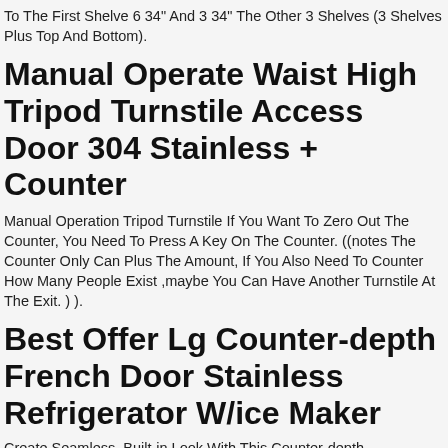To The First Shelve 6 34" And 3 34" The Other 3 Shelves (3 Shelves Plus Top And Bottom).
Manual Operate Waist High Tripod Turnstile Access Door 304 Stainless + Counter
Manual Operation Tripod Turnstile If You Want To Zero Out The Counter, You Need To Press A Key On The Counter. ((notes The Counter Only Can Plus The Amount, If You Also Need To Counter How Many People Exist ,maybe You Can Have Another Turnstile At The Exit. ) ).
Best Offer Lg Counter-depth French Door Stainless Refrigerator W/ice Maker
Create Seamless, Built-in Look With This Counter-depth